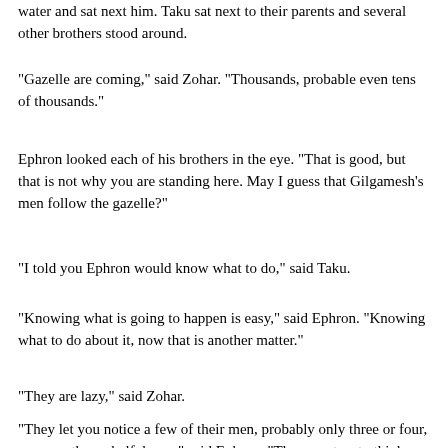water and sat next him. Taku sat next to their parents and several other brothers stood around.
"Gazelle are coming," said Zohar. "Thousands, probable even tens of thousands."
Ephron looked each of his brothers in the eye. "That is good, but that is not why you are standing here. May I guess that Gilgamesh's men follow the gazelle?"
"I told you Ephron would know what to do," said Taku.
"Knowing what is going to happen is easy," said Ephron. "Knowing what to do about it, now that is another matter."
"They are lazy," said Zohar.
"They let you notice a few of their men, probably only three or four, no more than a half dozen," said Ephron. "They want us to think there are not enough